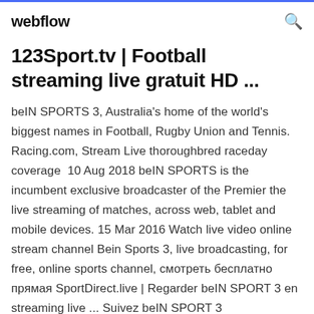webflow
123Sport.tv | Football streaming live gratuit HD ...
beIN SPORTS 3, Australia's home of the world's biggest names in Football, Rugby Union and Tennis. Racing.com, Stream Live thoroughbred raceday coverage  10 Aug 2018 beIN SPORTS is the incumbent exclusive broadcaster of the Premier the live streaming of matches, across web, tablet and mobile devices. 15 Mar 2016 Watch live video online stream channel Bein Sports 3, live broadcasting, for free, online sports channel, смотреть бесплатно прямая SportDirect.live | Regarder beIN SPORT 3 en streaming live ... Suivez beIN SPORT 3